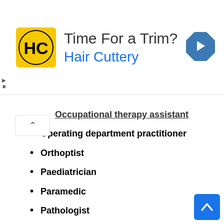[Figure (advertisement): Hair Cuttery advertisement banner with logo, 'Time For a Trim?' heading, 'Hair Cuttery' subtitle in blue, navigation arrow icon on right]
Occupational therapy assistant
Operating department practitioner
Orthoptist
Paediatrician
Paramedic
Pathologist
Personal assistant
Phlebotomist
Podiatrist
Porter
Prosthetist/orthotist
Psychiatrist
Psychotherapiss
Reconstructive scientist